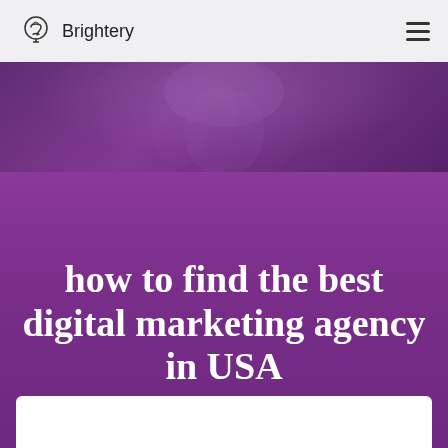Brightery
[Figure (photo): Dark purple-tinted photo of a person or statue silhouetted against a blurred background, used as a hero banner image]
how to find the best digital marketing agency in USA